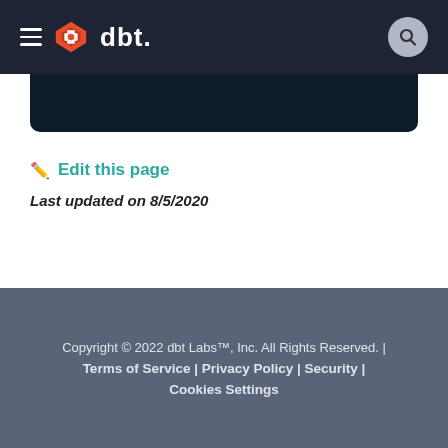dbt
Edit this page
Last updated on 8/5/2020
Copyright © 2022 dbt Labs™, Inc. All Rights Reserved. | Terms of Service | Privacy Policy | Security | Cookies Settings